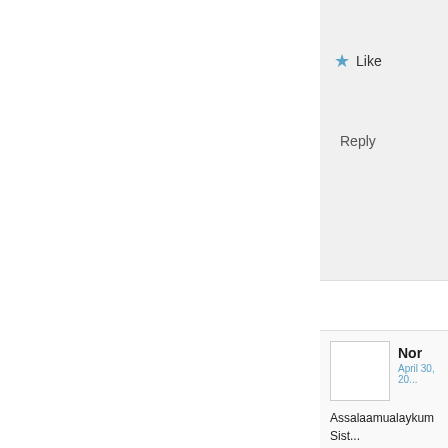Like
Reply
Nor
April 30, 20...
Assalaamualaykum Sist...
You write: I need him to... him. But he is cutting me...
First off, you do not need... also for your highest goo... you for you. You will end...
Also for the future, you d... you for them. You have h... human such as yourself,...
When you say you "know... denial. Time away from...